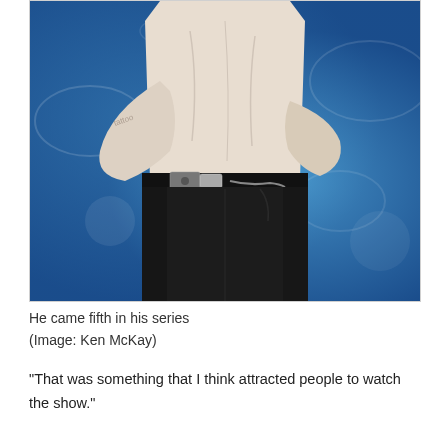[Figure (photo): A person wearing a light pink/white dress shirt with arms positioned around the waist, wearing dark black jeans with a decorative belt and buckle. The background is bright blue with abstract white swirl patterns.]
He came fifth in his series
(Image: Ken McKay)
“That was something that I think attracted people to watch the show.”